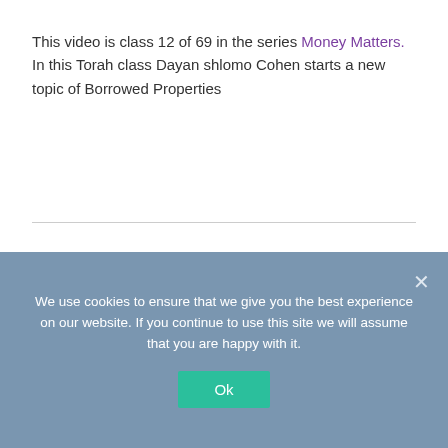This video is class 12 of 69 in the series Money Matters. In this Torah class Dayan shlomo Cohen starts a new topic of Borrowed Properties
BASIC LAWS AND CUSTOMS
Borrowed Properties
We use cookies to ensure that we give you the best experience on our website. If you continue to use this site we will assume that you are happy with it.